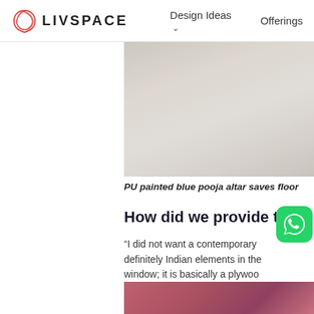LIVSPACE   Design Ideas ∨   Offerings
[Figure (photo): Partial view of an interior room photo, cropped on the right side of the page]
PU painted blue pooja altar saves floor
How did we provide this
“I did not want a contemporary definitely Indian elements in the window; it is basically a plywood entrance. Moreover, all the furn Kruti’s favourite are the two tur
[Figure (photo): Bottom strip of another interior photo with warm reddish-pink tones]